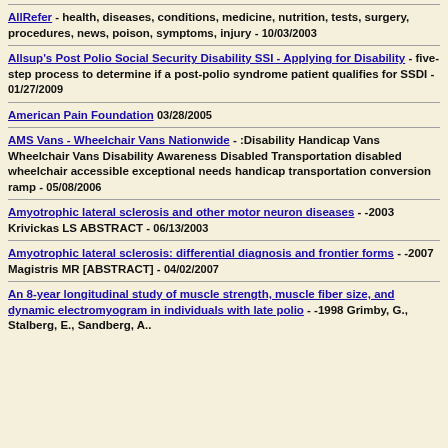AllRefer - health, diseases, conditions, medicine, nutrition, tests, surgery, procedures, news, poison, symptoms, injury - 10/03/2003
Allsup's Post Polio Social Security Disability SSI - Applying for Disability - five-step process to determine if a post-polio syndrome patient qualifies for SSDI - 01/27/2009
American Pain Foundation 03/28/2005
AMS Vans - Wheelchair Vans Nationwide - :Disability Handicap Vans Wheelchair Vans Disability Awareness Disabled Transportation disabled wheelchair accessible exceptional needs handicap transportation conversion ramp - 05/08/2006
Amyotrophic lateral sclerosis and other motor neuron diseases - -2003 Krivickas LS ABSTRACT - 06/13/2003
Amyotrophic lateral sclerosis: differential diagnosis and frontier forms - -2007 Magistris MR [ABSTRACT] - 04/02/2007
An 8-year longitudinal study of muscle strength, muscle fiber size, and dynamic electromyogram in individuals with late polio - -1998 Grimby, G., Stalberg, E., Sandberg, A..